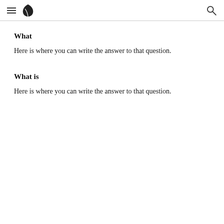navigation header with hamburger menu, leaf logo, and search icon
What
Here is where you can write the answer to that question.
What is
Here is where you can write the answer to that question.